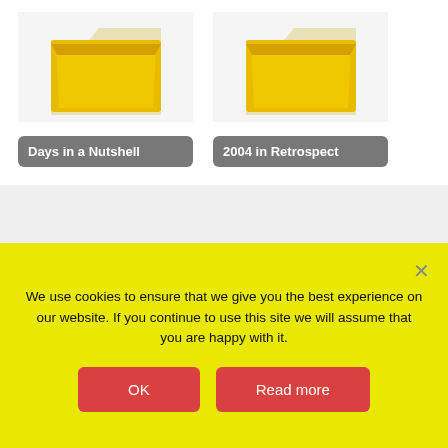[Figure (illustration): Two folder icons with yellow/gold color representing 'Days in a Nutshell' and '2004 in Retrospect']
← Previous Post
Next Post →
4 thoughts on "At The Grand Hyatt"
We use cookies to ensure that we give you the best experience on our website. If you continue to use this site we will assume that you are happy with it.